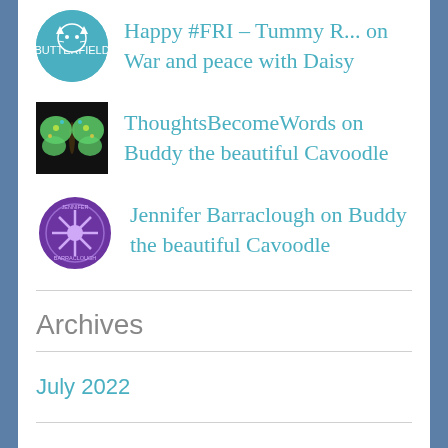Happy #FRI – Tummy R... on War and peace with Daisy
ThoughtsBecomeWords on Buddy the beautiful Cavoodle
Jennifer Barraclough on Buddy the beautiful Cavoodle
Archives
July 2022
May 2022
March 2022